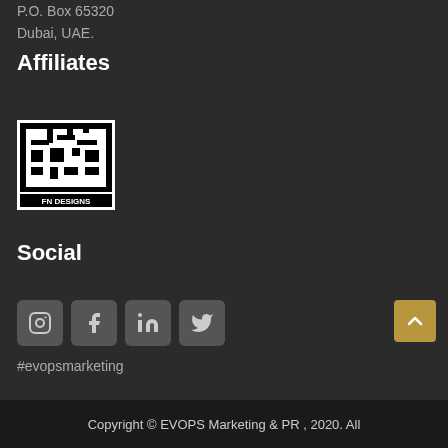P.O. Box 65520
Dubai, UAE.
Affiliates
[Figure (logo): FN Designs logo — black and white geometric/Arabic-style pattern with text FN DESIGNS below]
Social
[Figure (infographic): Four social media icon buttons in grey rounded squares: Instagram, Facebook, LinkedIn, Twitter]
#evopsmarketing
Copyright © EVOPS Marketing & PR , 2020. All